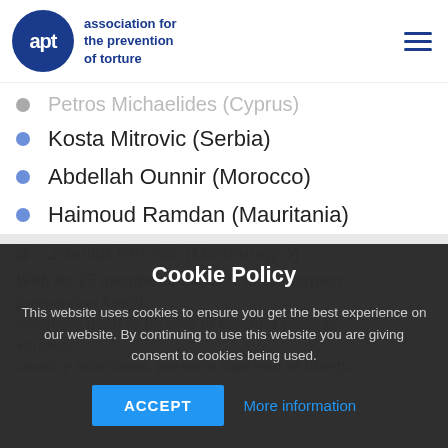apt association for the prevention of torture
Petros Michaelides (Cyprus)
Kosta Mitrovic (Serbia)
Abdellah Ounnir (Morocco)
Haimoud Ramdan (Mauritania)
Zdenka Perovic (Montenegro)
With its 25 members, the SPT is the largest [prevention] body...
members need to be able to conduct visits to various...
country interviews, persons deprived of liberty...
Cookie Policy
This website uses cookies to ensure you get the best experience on our website. By continuing to use this website you are giving consent to cookies being used.
ACCEPT
More information